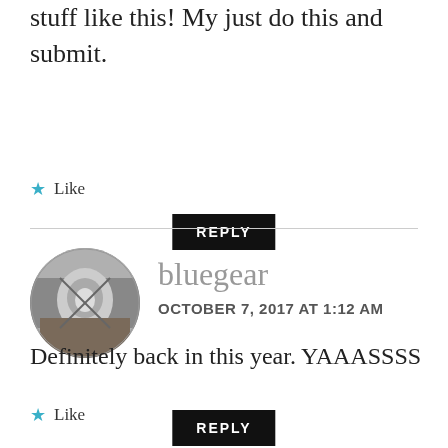stuff like this! My just do this and submit.
★ Like
REPLY
bluegear
OCTOBER 7, 2017 AT 1:12 AM
[Figure (photo): Circular avatar photo of bluegear user showing metallic/chrome equipment on a shop counter]
Definitely back in this year. YAAASSSS
★ Like
REPLY